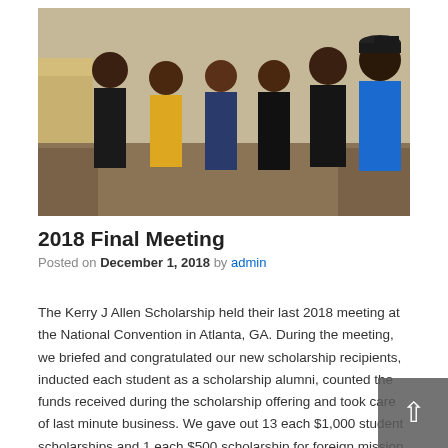[Figure (photo): Group photo of five people standing together indoors at the 2018 Final Meeting at the National Convention in Atlanta, GA. From left: a tall young man in black, a woman in yellow, a woman in navy blue, a woman in black dress, a man in black shirt, and a man in a blue polo shirt with a cap on the far right.]
2018 Final Meeting
Posted on December 1, 2018 by admin
The Kerry J Allen Scholarship held their last 2018 meeting at the National Convention in Atlanta, GA. During the meeting, we briefed and congratulated our new scholarship recipients, inducted each student as a scholarship alumni, counted the funds received during the scholarship offering and took care of last minute business. We gave out 13 each $1,000 student scholarships and 1 each $500 scholarship for foreign mission